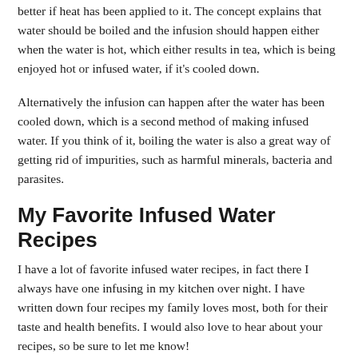better if heat has been applied to it. The concept explains that water should be boiled and the infusion should happen either when the water is hot, which either results in tea, which is being enjoyed hot or infused water, if it's cooled down.
Alternatively the infusion can happen after the water has been cooled down, which is a second method of making infused water. If you think of it, boiling the water is also a great way of getting rid of impurities, such as harmful minerals, bacteria and parasites.
My Favorite Infused Water Recipes
I have a lot of favorite infused water recipes, in fact there I always have one infusing in my kitchen over night. I have written down four recipes my family loves most, both for their taste and health benefits. I would also love to hear about your recipes, so be sure to let me know!